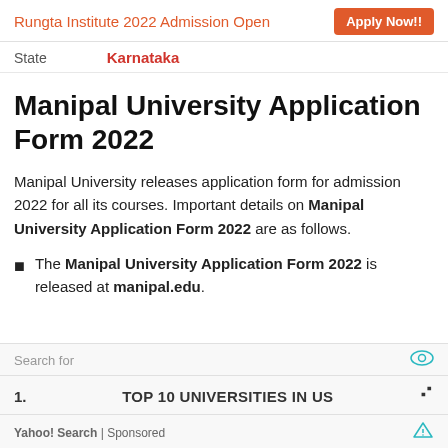Rungta Institute 2022 Admission Open   Apply Now!!
State   Karnataka
Manipal University Application Form 2022
Manipal University releases application form for admission 2022 for all its courses. Important details on Manipal University Application Form 2022 are as follows.
The Manipal University Application Form 2022 is released at manipal.edu.
Search for
1.   TOP 10 UNIVERSITIES IN US   ›
Yahoo! Search | Sponsored